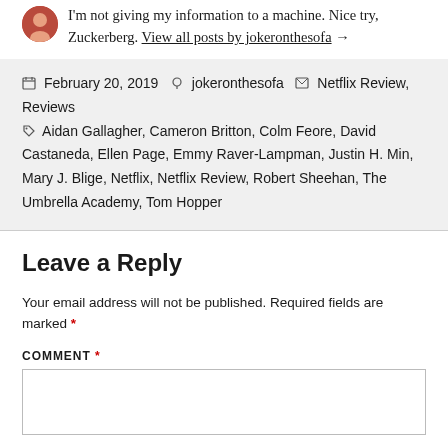I'm not giving my information to a machine. Nice try, Zuckerberg. View all posts by jokeronthesofa →
February 20, 2019  jokeronthesofa  Netflix Review, Reviews  Aidan Gallagher, Cameron Britton, Colm Feore, David Castaneda, Ellen Page, Emmy Raver-Lampman, Justin H. Min, Mary J. Blige, Netflix, Netflix Review, Robert Sheehan, The Umbrella Academy, Tom Hopper
Leave a Reply
Your email address will not be published. Required fields are marked *
COMMENT *